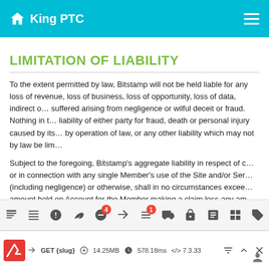King PTC
LIMITATION OF LIABILITY
To the extent permitted by law, Bitstamp will not be held liable for any loss of revenue, loss of business, loss of opportunity, loss of data, indirect or consequential loss suffered arising from negligence or wilful deceit or fraud. Nothing in this limits the liability of either party for fraud, death or personal injury caused by its negligence or by operation of law, or any other liability which may not by law be limited.
Subject to the foregoing, Bitstamp's aggregate liability in respect of claims arising out of or in connection with any single Member's use of the Site and/or Services, whether in tort (including negligence) or otherwise, shall in no circumstances exceed the greater of the amount held on Account for the Member making a claim less any am...